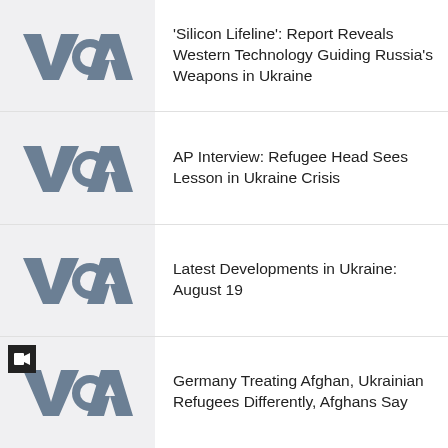[Figure (logo): VOA logo on light grey background]
‘Silicon Lifeline’: Report Reveals Western Technology Guiding Russia’s Weapons in Ukraine
[Figure (logo): VOA logo on light grey background]
AP Interview: Refugee Head Sees Lesson in Ukraine Crisis
[Figure (logo): VOA logo on light grey background]
Latest Developments in Ukraine: August 19
[Figure (logo): VOA logo on light grey background with video camera icon overlay]
Germany Treating Afghan, Ukrainian Refugees Differently, Afghans Say